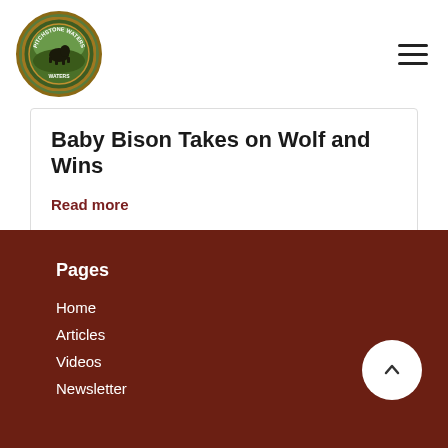[Figure (logo): Pitchstone Waters circular logo with bison and nature scene]
Baby Bison Takes on Wolf and Wins
Read more
Pages
Home
Articles
Videos
Newsletter